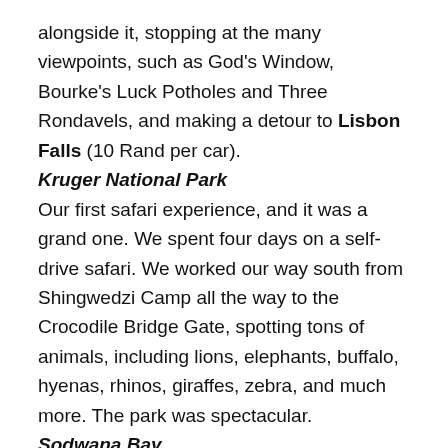alongside it, stopping at the many viewpoints, such as God's Window, Bourke's Luck Potholes and Three Rondavels, and making a detour to Lisbon Falls (10 Rand per car).
Kruger National Park
Our first safari experience, and it was a grand one. We spent four days on a self-drive safari. We worked our way south from Shingwedzi Camp all the way to the Crocodile Bridge Gate, spotting tons of animals, including lions, elephants, buffalo, hyenas, rhinos, giraffes, zebra, and much more. The park was spectacular.
Sodwana Bay
Our guidebook made this Indian Ocean escape sound like a quiet little paradise, but showing up on a weekend, we found it to be a bit of a madhouse. It's a hotspot for diving, but as we were not yet certified, we just relaxed